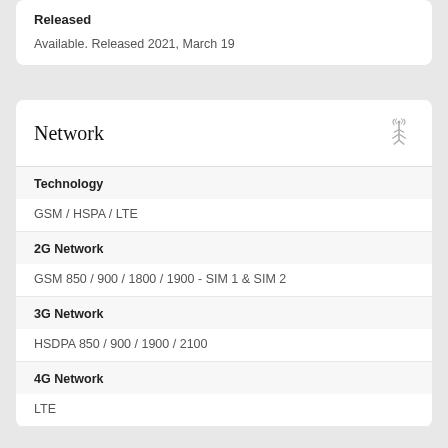Released
Available. Released 2021, March 19
Network
Technology
GSM / HSPA / LTE
2G Network
GSM 850 / 900 / 1800 / 1900 - SIM 1 & SIM 2
3G Network
HSDPA 850 / 900 / 1900 / 2100
4G Network
LTE